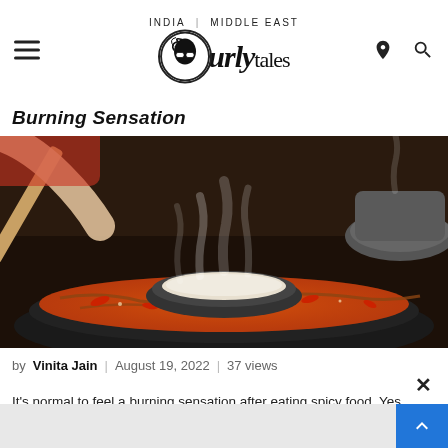INDIA | MIDDLE EAST — Curly Tales logo with hamburger menu, location pin and search icons
Burning Sensation
[Figure (photo): A steaming hot pot with spicy red broth surrounding a central metal bowl, being stirred with a wooden chopstick or ladle. Another pot visible in the background on the right.]
by Vinita Jain  |  August 19, 2022  |  37 views
It's normal to feel a burning sensation after eating spicy food. Yes